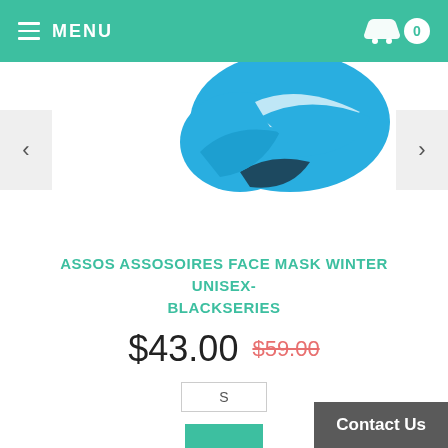MENU
[Figure (photo): Close-up of a blue and white ASSOS cycling face mask/glove accessory on white background, with left and right navigation arrows]
ASSOS ASSOSOIRES FACE MASK WINTER UNISEX-BLACKSERIES
$43.00 $59.00
S
[Figure (other): Add to cart button with basket icon]
Contact Us